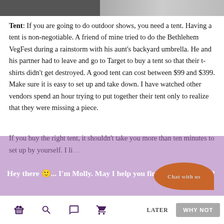[Figure (photo): Cropped top strip of what appears to be an outdoor/market scene photo]
Tent: If you are going to do outdoor shows, you need a tent. Having a tent is non-negotiable. A friend of mine tried to do the Bethlehem VegFest during a rainstorm with his aunt's backyard umbrella. He and his partner had to leave and go to Target to buy a tent so that their t-shirts didn't get destroyed. A good tent can cost between $99 and $399. Make sure it is easy to set up and take down. I have watched other vendors spend an hour trying to put together their tent only to realize that they were missing a piece.
If you buy the right tent, it shouldn't take you more than ten minutes to set up by yourself. I li
Hey there 🙂... I'm Molly. May I help you find what you want?
Chat with us